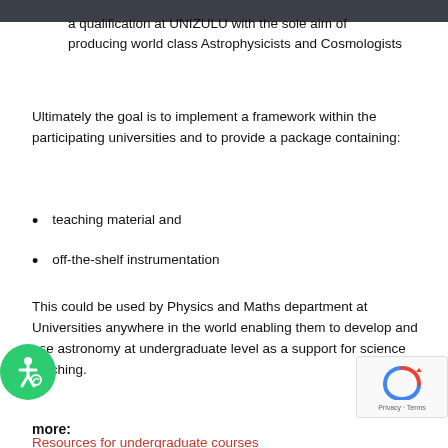a qualification at UNIZULU with the sole aim of producing world class Astrophysicists and Cosmologists
Ultimately the goal is to implement a framework within the participating universities and to provide a package containing:
teaching material and
off-the-shelf instrumentation
This could be used by Physics and Maths department at Universities anywhere in the world enabling them to develop and use astronomy at undergraduate level as a support for science teaching.
more:
Resources for undergraduate courses